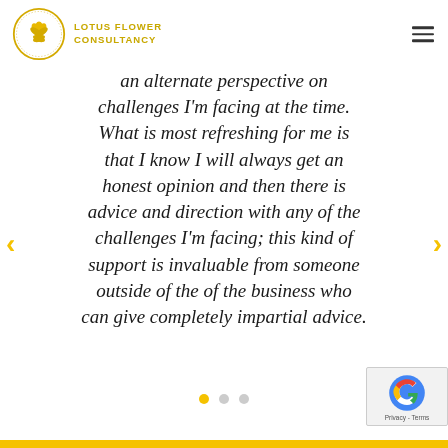LOTUS FLOWER CONSULTANCY
an alternate perspective on challenges I'm facing at the time. What is most refreshing for me is that I know I will always get an honest opinion and then there is advice and direction with any of the challenges I'm facing; this kind of support is invaluable from someone outside of the of the business who can give completely impartial advice.
[Figure (other): Carousel navigation dots — three circles, first one filled yellow (active), two grey]
[Figure (other): Google reCAPTCHA badge in bottom right corner with Privacy - Terms label]